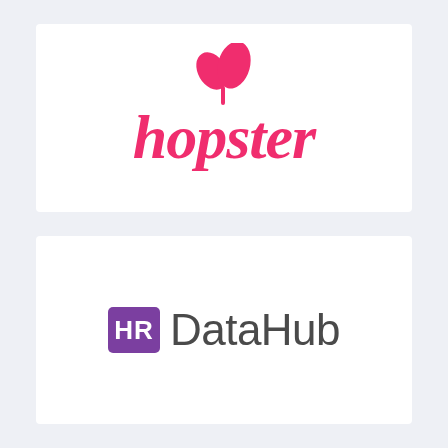[Figure (logo): Hopster logo — pink cursive lettering 'hopster' with two leaf/goblet shapes above]
[Figure (logo): HR DataHub logo — purple rounded rectangle badge with white 'HR' text followed by 'DataHub' in dark gray sans-serif]